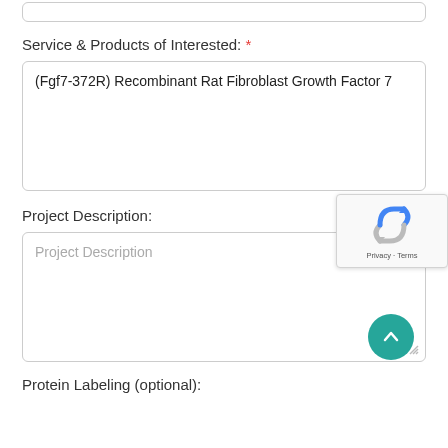Service & Products of Interested: *
(Fgf7-372R) Recombinant Rat Fibroblast Growth Factor 7
Project Description:
Project Description
Protein Labeling (optional):